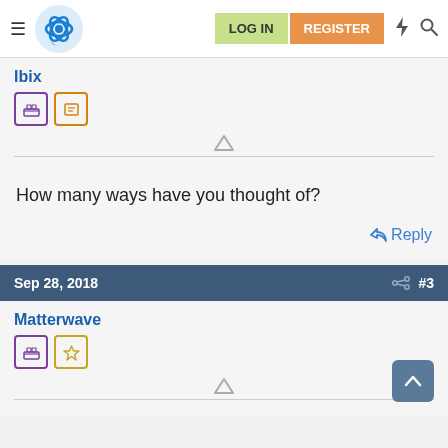Navigation bar with menu, logo, LOG IN, REGISTER buttons, lightning and search icons
Ibix
How many ways have you thought of?
Reply
Sep 28, 2018  #3
Matterwave